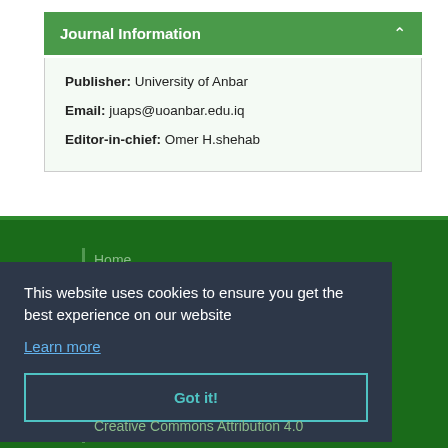Journal Information
Publisher: University of Anbar
Email: juaps@uoanbar.edu.iq
Editor-in-chief: Omer H.shehab
This website uses cookies to ensure you get the best experience on our website
Learn more
Got it!
Creative Commons Attribution 4.0